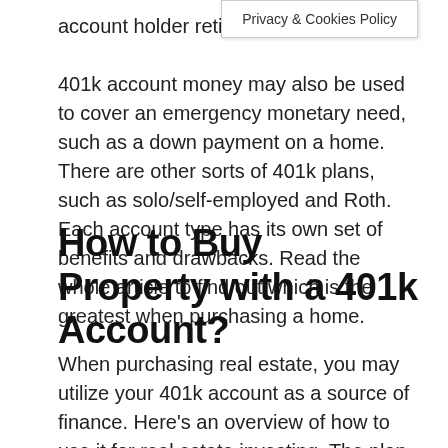Privacy & Cookies Policy
account holder retire

401k account money may also be used to cover an emergency monetary need, such as a down payment on a home. There are other sorts of 401k plans, such as solo/self-employed and Roth. Each account type has its own set of benefits and drawbacks. Read the whole article to find out which is the greatest when purchasing a home.
How to Buy Property with a 401k Account?
When purchasing real estate, you may utilize your 401k account as a source of finance. Here's an overview of how to use it for real estate investing. The plan you choose from the choices below will determine the tax or penalty repercussions you may